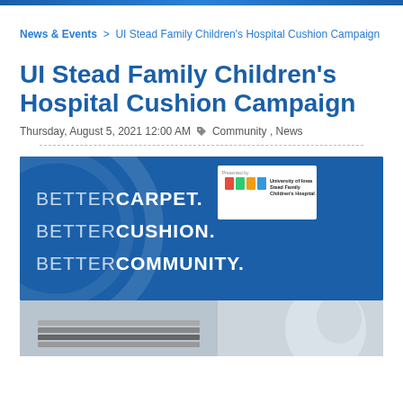News & Events > UI Stead Family Children's Hospital Cushion Campaign
UI Stead Family Children's Hospital Cushion Campaign
Thursday, August 5, 2021 12:00 AM  Community , News
[Figure (photo): Banner ad with blue background reading BETTERCARPET. BETTERCUSHION. BETTERCOMMUNITY. with University of Iowa Stead Family Children's Hospital logo, followed by a photo strip showing carpet samples and a baby]
[Figure (photo): Photo strip showing carpet samples on left and a baby on the right]